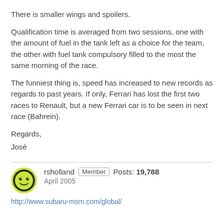There is smaller wings and spoilers.
Qualification time is averaged from two sessions, one with the amount of fuel in the tank left as a choice for the team, the other with fuel tank compulsory filled to the most the same morning of the race.
The funniest thing is, speed has increased to new records as regards to past years. If only, Ferrari has lost the first two races to Renault, but a new Ferrari car is to be seen in next race (Bahrein).
Regards,
José
rsholland   Member   Posts: 19,788
April 2005
http://www.subaru-msm.com/global/